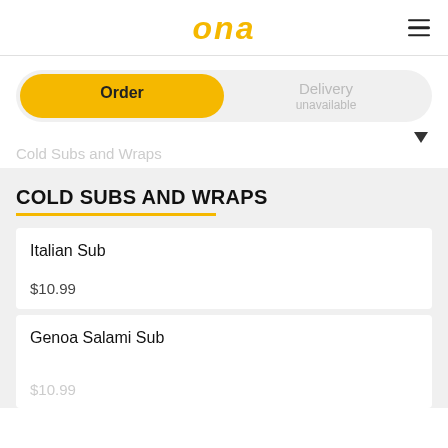ona
Order | Delivery unavailable
Cold Subs and Wraps
COLD SUBS AND WRAPS
Italian Sub
$10.99
Genoa Salami Sub
$10.99